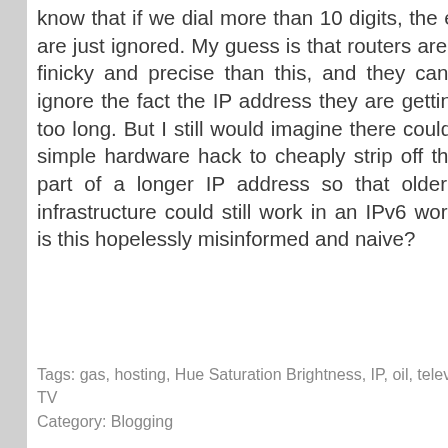know that if we dial more than 10 digits, the extras are just ignored.  My guess is that routers are more finicky and precise than this, and they can't just ignore the fact the IP address they are getting are too long.  But I still would imagine there could be a simple hardware hack to cheaply strip off the last part of a longer IP address so that older IPv4 infrastructure could still work in an IPv6 world.  Or is this hopelessly misinformed and naive?
Tags: gas, hosting, Hue Saturation Brightness, IP, oil, television, TV
Category:  Blogging